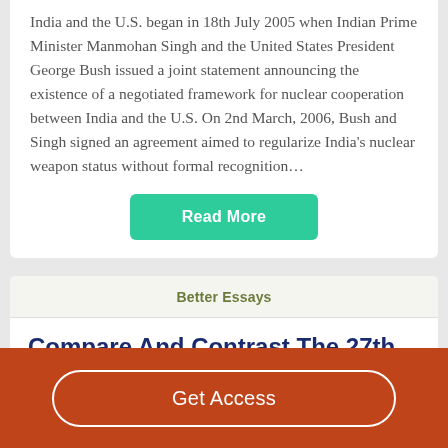India and the U.S. began in 18th July 2005 when Indian Prime Minister Manmohan Singh and the United States President George Bush issued a joint statement announcing the existence of a negotiated framework for nuclear cooperation between India and the U.S. On 2nd March, 2006, Bush and Singh signed an agreement aimed to regularize India's nuclear weapon status without formal recognition…
Read More
Better Essays
Compare And Contrast The 27th Amendment And The 26th Amendment
Get Access